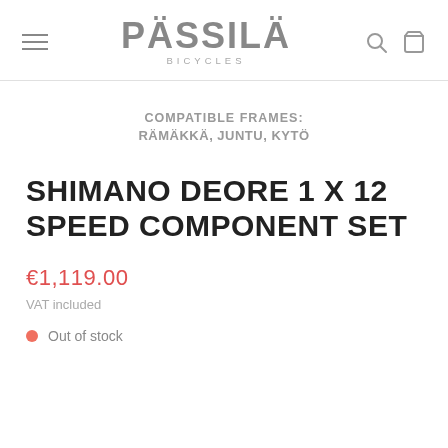PÄSSILÄ BICYCLES
COMPATIBLE FRAMES:
RÄMÄKKÄ, JUNTU, KYTÖ
SHIMANO DEORE 1 X 12 SPEED COMPONENT SET
€1,119.00
VAT included
Out of stock